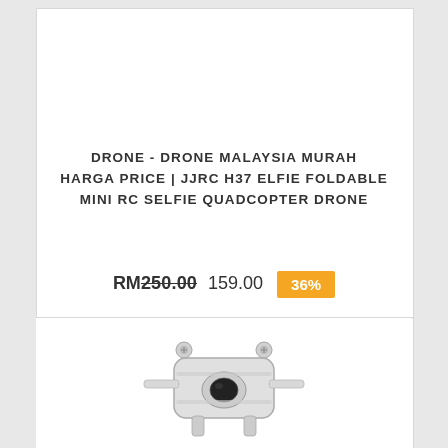DRONE - DRONE MALAYSIA MURAH HARGA PRICE | JJRC H37 ELFIE FOLDABLE MINI RC SELFIE QUADCOPTER DRONE
RM250.00  159.00  36%
[Figure (photo): Bottom portion of a drone product image, showing the underside of a small quadcopter drone in silver/white color against a white background]